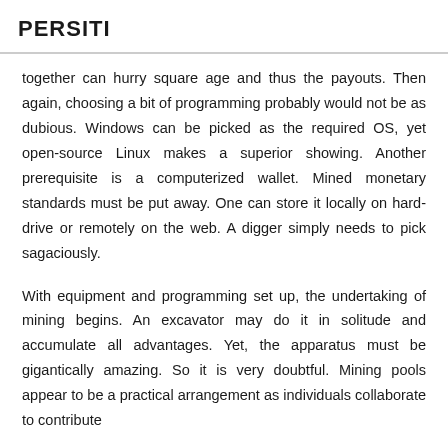PERSITI
together can hurry square age and thus the payouts. Then again, choosing a bit of programming probably would not be as dubious. Windows can be picked as the required OS, yet open-source Linux makes a superior showing. Another prerequisite is a computerized wallet. Mined monetary standards must be put away. One can store it locally on hard-drive or remotely on the web. A digger simply needs to pick sagaciously.
With equipment and programming set up, the undertaking of mining begins. An excavator may do it in solitude and accumulate all advantages. Yet, the apparatus must be gigantically amazing. So it is very doubtful. Mining pools appear to be a practical arrangement as individuals collaborate to contribute